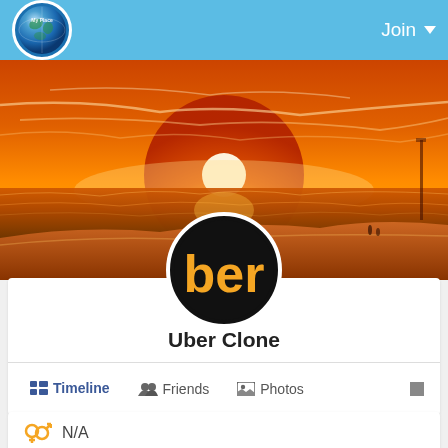My Place — Join
[Figure (photo): Cover photo showing a beach sunset with orange and red sky, sun on horizon, wet sand and waves]
[Figure (logo): Uber Clone profile picture: black circle with orange text 'ber' on white ring border]
Uber Clone
Timeline   Friends   Photos
N/A